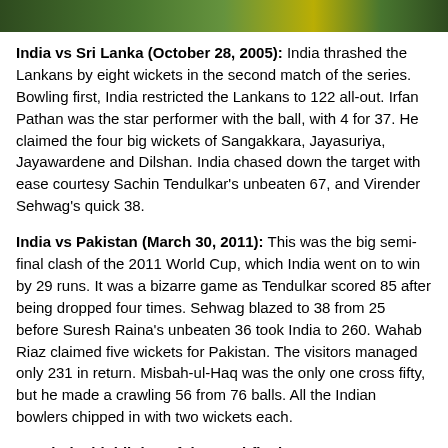[Figure (photo): Sports photo strip at top of page showing cricket players in green and yellow uniforms]
India vs Sri Lanka (October 28, 2005): India thrashed the Lankans by eight wickets in the second match of the series. Bowling first, India restricted the Lankans to 122 all-out. Irfan Pathan was the star performer with the ball, with 4 for 37. He claimed the four big wickets of Sangakkara, Jayasuriya, Jayawardene and Dilshan. India chased down the target with ease courtesy Sachin Tendulkar's unbeaten 67, and Virender Sehwag's quick 38.
India vs Pakistan (March 30, 2011): This was the big semi-final clash of the 2011 World Cup, which India went on to win by 29 runs. It was a bizarre game as Tendulkar scored 85 after being dropped four times. Sehwag blazed to 38 from 25 before Suresh Raina's unbeaten 36 took India to 260. Wahab Riaz claimed five wickets for Pakistan. The visitors managed only 231 in return. Misbah-ul-Haq was the only one cross fifty, but he made a crawling 56 from 76 balls. All the Indian bowlers chipped in with two wickets each.
Watch the highlights of the semi-final